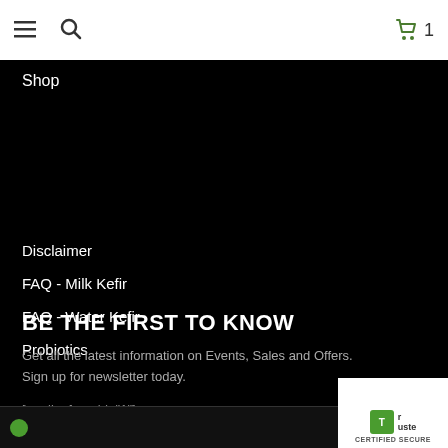≡ 🔍  🛍 1
Shop
Disclaimer
FAQ - Milk Kefir
FAQ - Water Kefir
Probiotics
BE THE FIRST TO KNOW
Get all the latest information on Events, Sales and Offers. Sign up for newsletter today.
[wysija_form id="1"]
CERTIFIED SECURE